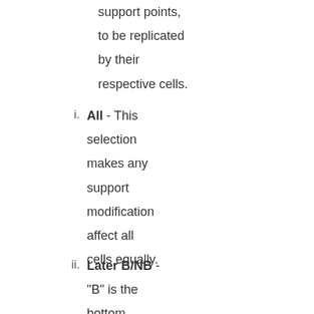support points, to be replicated by their respective cells.
All - This selection makes any support modification affect all cells equally.
Later B/NB - "B" is the bottom layer. "NB" is